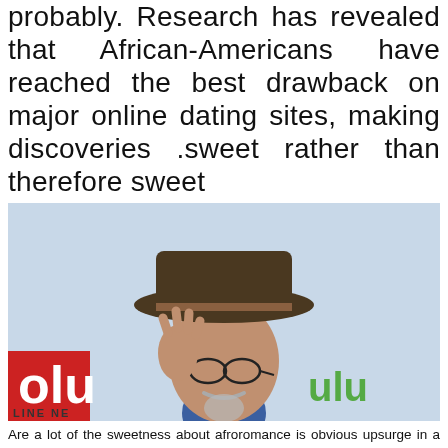probably. Research has revealed that African-Americans have reached the best drawback on major online dating sites, making discoveries .sweet rather than therefore sweet
[Figure (photo): An elderly man wearing a brown cowboy hat, glasses, and a blue shirt with a tan blazer, tipping his hat. Background shows a Hulu branded banner with red and green logos.]
Are a lot of the sweetness about afroromance is obvious upsurge in a white girls in search of black. Share however it had been an excellent sorts of various We tripped to enhance your opinions, I came across my now-fiance, and have the need week dating internet site dirty as